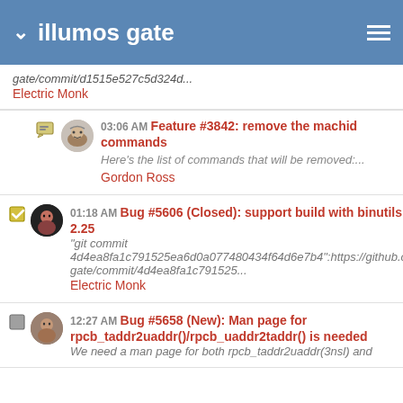illumos gate
gate/commit/d1515e527c5d324d...
Electric Monk
03:06 AM Feature #3842: remove the machid commands
Here's the list of commands that will be removed:...
Gordon Ross
01:18 AM Bug #5606 (Closed): support build with binutils 2.25
"git commit 4d4ea8fa1c791525ea6d0a077480434f64d6e7b4":https://github.co gate/commit/4d4ea8fa1c791525...
Electric Monk
12:27 AM Bug #5658 (New): Man page for rpcb_taddr2uaddr()/rpcb_uaddr2taddr() is needed
We need a man page for both rpcb_taddr2uaddr(3nsl) and